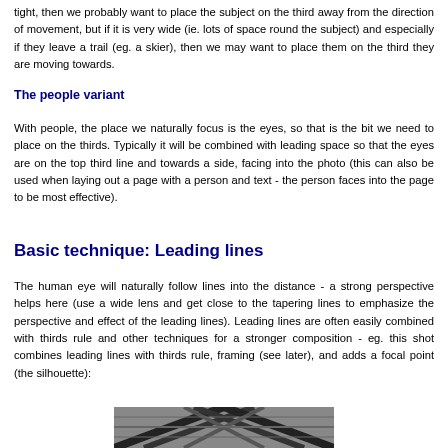tight, then we probably want to place the subject on the third away from the direction of movement, but if it is very wide (ie. lots of space round the subject) and especially if they leave a trail (eg. a skier), then we may want to place them on the third they are moving towards.
The people variant
With people, the place we naturally focus is the eyes, so that is the bit we need to place on the thirds. Typically it will be combined with leading space so that the eyes are on the top third line and towards a side, facing into the photo (this can also be used when laying out a page with a person and text - the person faces into the page to be most effective).
Basic technique: Leading lines
The human eye will naturally follow lines into the distance - a strong perspective helps here (use a wide lens and get close to the tapering lines to emphasize the perspective and effect of the leading lines). Leading lines are often easily combined with thirds rule and other techniques for a stronger composition - eg. this shot combines leading lines with thirds rule, framing (see later), and adds a focal point (the silhouette):
[Figure (photo): Partial view of a photograph showing diagonal leading lines, likely architectural or structural elements, black and white image at the bottom of the page.]